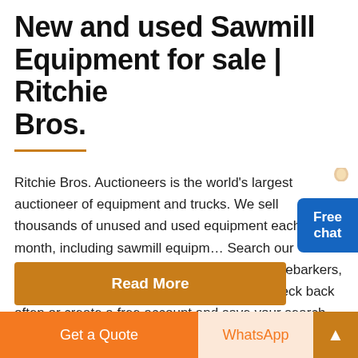New and used Sawmill Equipment for sale | Ritchie Bros.
Ritchie Bros. Auctioneers is the world's largest auctioneer of equipment and trucks. We sell thousands of unused and used equipment each month, including sawmill equipment. Search our inventory to find portable sawmills, planers, debarkers, log decks, stackers, bandmills and more. Check back often or create a free account and save your search ...
[Figure (other): Blue 'Free chat' button with illustration of a person, positioned at right side]
Read More
Get a Quote
WhatsApp